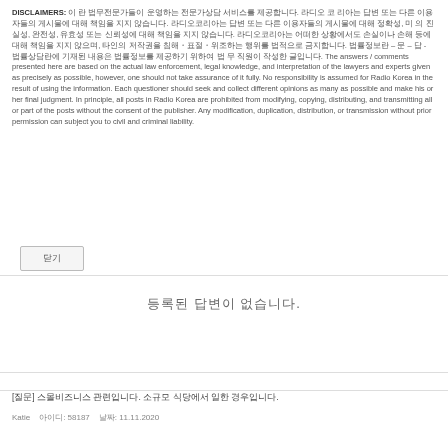DISCLAIMERS: 이 란 법무전문가들이 운영하는 전문가상담 서비스를 제공합니다. 라디오 코 리아는 답변 또는 다른 이용자들의 게시물에 대해 책임을 지지 않습니다. 라디오코리아는 답변 또는 다른 이용자들의 게시물에 대해 정확성, 미 의 진실성, 완전성, 유효성 또는 신뢰성에 대해 책임을 지지 않습니다. 라디오코리아는 어떠한 상황에서도 손실이나 손해 등에 대해 책임을 지지 않으며, 타인의 저작권을 침해・표절・위조하는 행위를 법적으로 금지합니다. 법률정보란 – 문 – 답 - 법률상담란에 기재된 내용은 법률정보를 제공하기 위하여 법 무 직원이 작성한 글입니다. The answers / comments presented here are based on the actual law enforcement, legal knowledge, and interpretation of the lawyers and experts given as precisely as possible, however, one should not take assurance of it fully. No responsibility is assumed for Radio Korea in the result of using the information. Each questioner should seek and collect different opinions as many as possible and make his or her final judgment. In principle, all posts in Radio Korea are prohibited from modifying, copying, distributing, and transmitting all or part of the posts without the consent of the publisher. Any modification, duplication, distribution, or transmission without prior permission can subject you to civil and criminal liability.
닫기
등록된 답변이 없습니다.
[질문] 스몰비즈니스 관련입니다. 소규모 식당에서 일한 경우입니다.
Katie   아이디: 58187   날짜: 11.11.2020